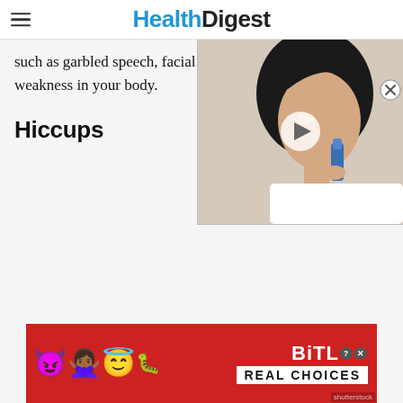HealthDigest
such as garbled speech, facial features, or weakness in your body.
[Figure (photo): Video overlay showing a woman using an inhaler, with play button. Close button in top right corner.]
Hiccups
[Figure (infographic): BitLife advertisement banner with emoji characters (devil, Black woman with raised hands, angel, sperm), BitLife logo with question mark and close icons, and REAL CHOICES text on red background. Shutterstock watermark visible.]